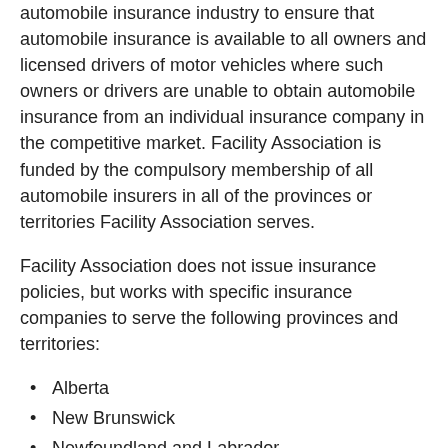automobile insurance industry to ensure that automobile insurance is available to all owners and licensed drivers of motor vehicles where such owners or drivers are unable to obtain automobile insurance from an individual insurance company in the competitive market. Facility Association is funded by the compulsory membership of all automobile insurers in all of the provinces or territories Facility Association serves.
Facility Association does not issue insurance policies, but works with specific insurance companies to serve the following provinces and territories:
Alberta
New Brunswick
Newfoundland and Labrador
Northwest Territories
Nova Scotia
Nunavut